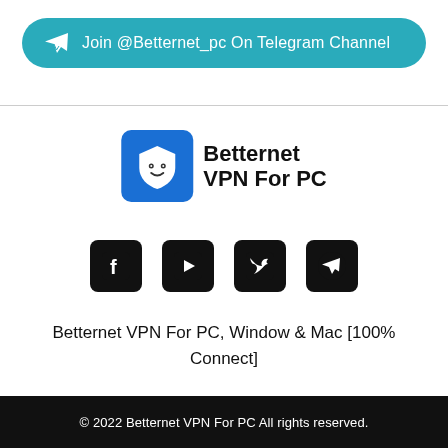[Figure (infographic): Teal rounded banner with Telegram paper-plane icon and text: Join @Betternet_pc On Telegram Channel]
[Figure (logo): Betternet VPN For PC logo: blue square icon with shield/face, beside bold text 'Betternet VPN For PC']
[Figure (infographic): Four social media icons in black rounded squares: Facebook, YouTube, Twitter, Telegram]
Betternet VPN For PC, Window & Mac [100% Connect]
© 2022 Betternet VPN For PC All rights reserved.